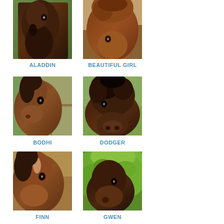[Figure (photo): Close-up photo of a dark brown horse named Aladdin facing left]
ALADDIN
[Figure (photo): Close-up photo of a reddish-brown horse named Beautiful Girl with fluffy mane]
BEAUTIFUL GIRL
[Figure (photo): Close-up photo of a bay horse named Bodhi with fence in background]
BODHI
[Figure (photo): Close-up photo of a dark brown miniature horse named Dodger with shaggy mane]
DODGER
[Figure (photo): Close-up photo of a brown horse named Finn with blaze on forehead]
FINN
[Figure (photo): Close-up photo of a dark horse named Gwen with green leaves in background]
GWEN